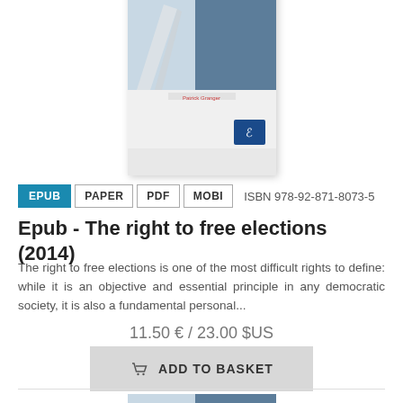[Figure (illustration): Book cover of 'The Right to Free Elections' showing a hand holding a pen over paper, with a blue-grey header area and Council of Europe logo at bottom right]
EPUB  PAPER  PDF  MOBI  ISBN 978-92-871-8073-5
Epub - The right to free elections (2014)
The right to free elections is one of the most difficult rights to define: while it is an objective and essential principle in any democratic society, it is also a fundamental personal...
11.50 € / 23.00 $US
ADD TO BASKET
[Figure (illustration): Partial view of a second book cover showing 'THE RIGHT' text, similar style to the first book]